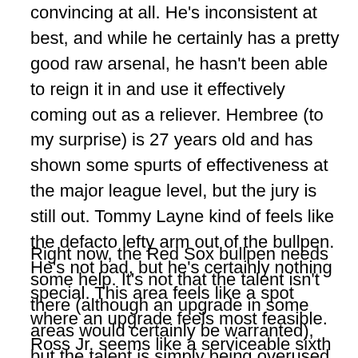convincing at all. He's inconsistent at best, and while he certainly has a pretty good raw arsenal, he hasn't been able to reign it in and use it effectively coming out as a reliever. Hembree (to my surprise) is 27 years old and has shown some spurts of effectiveness at the major league level, but the jury is still out. Tommy Layne kind of feels like the defacto lefty arm out of the bullpen. He's not bad, but he's certainly nothing special. This area feels like a spot where an upgrade feels most feasible. Ross Jr. seems like a serviceable sixth inning guy, but his current role, especially given the injuries, feels like asking for too much.
Right now, the Red Sox bullpen needs some help. It's not that the talent isn't there (although an upgrade in some areas would certainly be warranted), but the talent is simply being overused. And once Smith comes